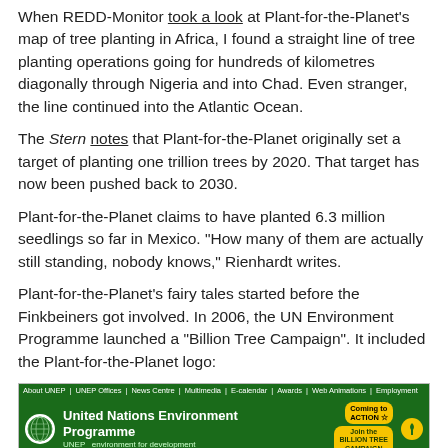When REDD-Monitor took a look at Plant-for-the-Planet's map of tree planting in Africa, I found a straight line of tree planting operations going for hundreds of kilometres diagonally through Nigeria and into Chad. Even stranger, the line continued into the Atlantic Ocean.
The Stern notes that Plant-for-the-Planet originally set a target of planting one trillion trees by 2020. That target has now been pushed back to 2030.
Plant-for-the-Planet claims to have planted 6.3 million seedlings so far in Mexico. “How many of them are actually still standing, nobody knows,” Rienhardt writes.
Plant-for-the-Planet’s fairy tales started before the Finkbeiners got involved. In 2006, the UN Environment Programme launched a “Billion Tree Campaign”. It included the Plant-for-the-Planet logo:
[Figure (screenshot): Screenshot of the United Nations Environment Programme website showing the Billion Tree Campaign page with green header, UNEP logo, navigation bar, and language links. The page title shown is 'The Billion Tree Campaign • Growing Green']